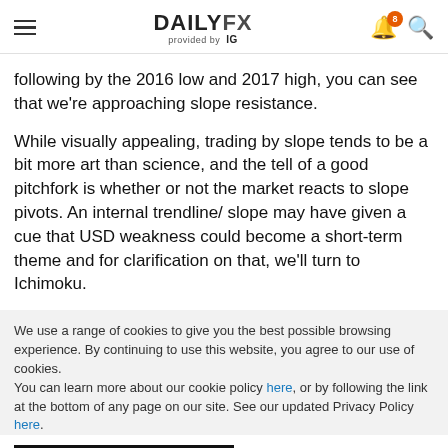DAILYFX provided by IG
following by the 2016 low and 2017 high, you can see that we're approaching slope resistance.
While visually appealing, trading by slope tends to be a bit more art than science, and the tell of a good pitchfork is whether or not the market reacts to slope pivots. An internal trendline/ slope may have given a cue that USD weakness could become a short-term theme and for clarification on that, we'll turn to Ichimoku.
We use a range of cookies to give you the best possible browsing experience. By continuing to use this website, you agree to our use of cookies.
You can learn more about our cookie policy here, or by following the link at the bottom of any page on our site. See our updated Privacy Policy here.
Accept